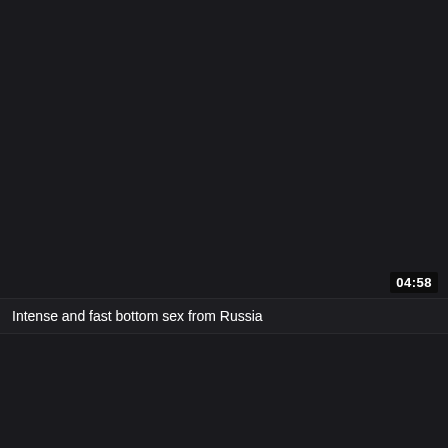[Figure (screenshot): Dark video thumbnail with black background, showing a duration badge reading 04:58 in the lower right area]
04:58
Intense and fast bottom sex from Russia